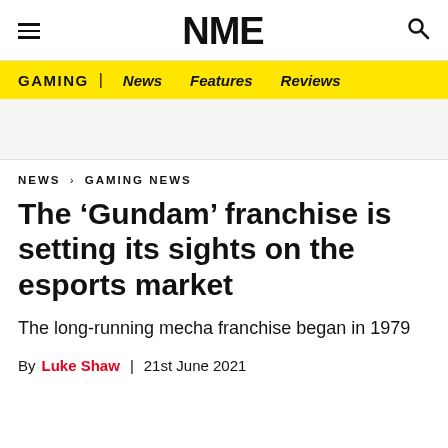NME
GAMING | News Features Reviews
NEWS › GAMING NEWS
The 'Gundam' franchise is setting its sights on the esports market
The long-running mecha franchise began in 1979
By Luke Shaw | 21st June 2021